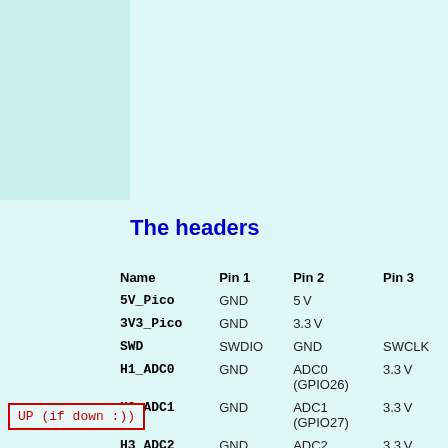[Figure (photo): Green PCB board showing connector headers labeled H4x2, H2x2, H4x1, H3x1 with rows of pins, screws, USB micro connectors, and FPC connectors on a gray surface.]
The headers
| Name | Pin 1 | Pin 2 | Pin 3 |
| --- | --- | --- | --- |
| 5V_Pico | GND | 5V |  |
| 3V3_Pico | GND | 3.3V |  |
| SWD | SWDIO | GND | SWCLK |
| H1_ADC0 | GND | ADC0 (GPIO26) | 3.3V |
| H2_ADC1 | GND | ADC1 (GPIO27) | 3.3V |
| H3_ADC2 | GND | ADC2 | 3.3V |
UP (if down :))